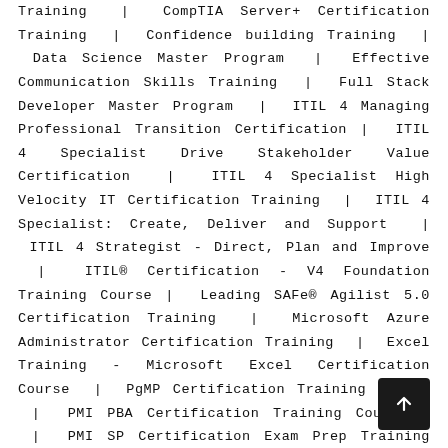Training | CompTIA Server+ Certification Training | Confidence building Training | Data Science Master Program | Effective Communication Skills Training | Full Stack Developer Master Program | ITIL 4 Managing Professional Transition Certification | ITIL 4 Specialist Drive Stakeholder Value Certification | ITIL 4 Specialist High Velocity IT Certification Training | ITIL 4 Specialist: Create, Deliver and Support | ITIL 4 Strategist - Direct, Plan and Improve | ITIL® Certification - V4 Foundation Training Course | Leading SAFe® Agilist 5.0 Certification Training | Microsoft Azure Administrator Certification Training | Excel Training - Microsoft Excel Certification Course | PgMP Certification Training Course | PMI PBA Certification Training Course , | PMI SP Certification Exam Prep Training | PRINCE2 Agile Certification